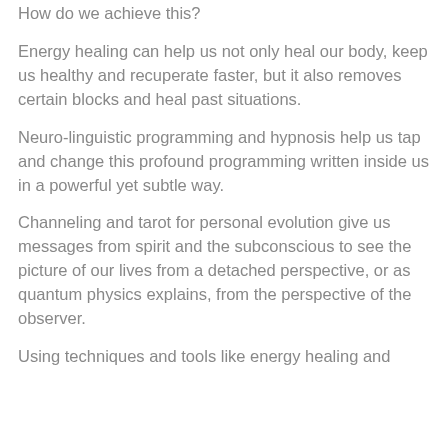How do we achieve this?
Energy healing can help us not only heal our body, keep us healthy and recuperate faster, but it also removes certain blocks and heal past situations.
Neuro-linguistic programming and hypnosis help us tap and change this profound programming written inside us in a powerful yet subtle way.
Channeling and tarot for personal evolution give us messages from spirit and the subconscious to see the picture of our lives from a detached perspective, or as quantum physics explains, from the perspective of the observer.
Using techniques and tools like energy healing and